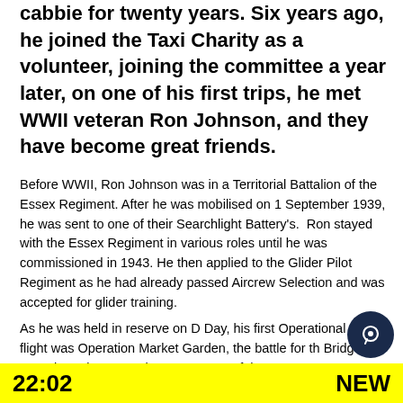cabbie for twenty years. Six years ago, he joined the Taxi Charity as a volunteer, joining the committee a year later, on one of his first trips, he met WWII veteran Ron Johnson, and they have become great friends.
Before WWII, Ron Johnson was in a Territorial Battalion of the Essex Regiment. After he was mobilised on 1 September 1939, he was sent to one of their Searchlight Battery's. Ron stayed with the Essex Regiment in various roles until he was commissioned in 1943. He then applied to the Glider Pilot Regiment as he had already passed Aircrew Selection and was accepted for glider training.
As he was held in reserve on D Day, his first Operational flight was Operation Market Garden, the battle for th Bridge at Arnhem, in September 1944. One of the m
22:02  NEW